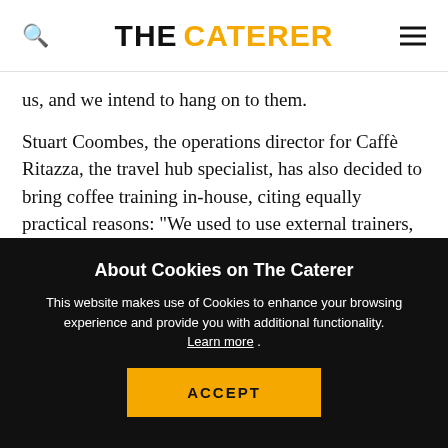THE CATERER
us, and we intend to hang on to them.
Stuart Coombes, the operations director for Caffè Ritazza, the travel hub specialist, has also decided to bring coffee training in-house, citing equally practical reasons: "We used to use external trainers, but no one can understand your brand as you do so in-house training is the more successful way of passing on both skills and brand values."
About Cookies on The Caterer
This website makes use of Cookies to enhance your browsing experience and provide you with additional functionality. Learn more .
ACCEPT